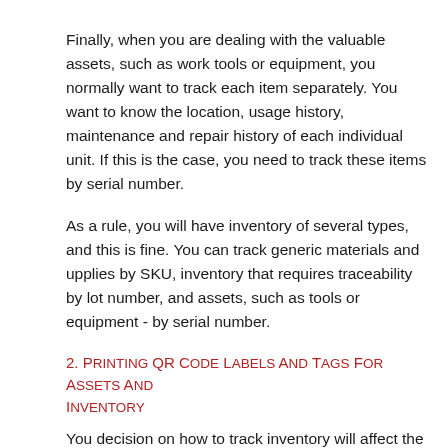Finally, when you are dealing with the valuable assets, such as work tools or equipment, you normally want to track each item separately. You want to know the location, usage history, maintenance and repair history of each individual unit. If this is the case, you need to track these items by serial number.
As a rule, you will have inventory of several types, and this is fine. You can track generic materials and upplies by SKU, inventory that requires traceability by lot number, and assets, such as tools or equipment - by serial number.
2. Printing QR Code Labels And Tags For Assets And Inventory
You decision on how to track inventory will affect the way you are printing QR code labels. QR code label or tag should encode the ID / unique number for your lower level inventory units - SKU, lot number or serial number.